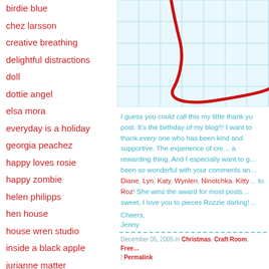birdie blue
chez larsson
creative breathing
delightful distractions
doll
dottie angel
elsa mora
everyday is a holiday
georgia peachez
happy loves rosie
happy zombie
helen philipps
hen house
house wren studio
inside a black apple
jurianne matter
[Figure (illustration): Grid paper background with a red swooping line/curve drawn on it, resembling a hand-drawn flourish on graph paper]
I guess you could call this my little thank you post. It’s the birthday of my blog!!! I want to thank every one who has been kind and supportive. The experience of creating this blog is a rewarding thing. And I especially want to give gratitude to those been so wonderful with your comments and emails— Diane, Lyn, Katy, Wynlen, Ninotchka, Kitty… and especially to Roz! She wins the award for most posts. You are so very sweet, I love you to pieces Rozzie darling!
Cheers,
Jenny
December 05, 2005 in Christmas, Craft Room, Free... | Permalink